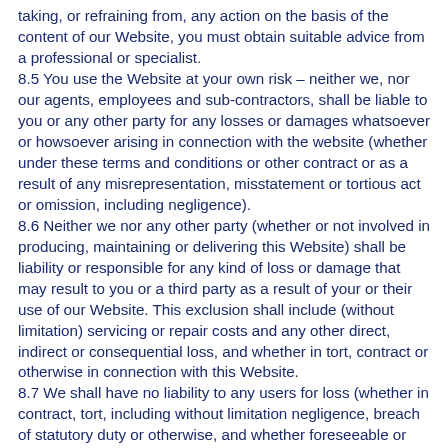taking, or refraining from, any action on the basis of the content of our Website, you must obtain suitable advice from a professional or specialist.
8.5 You use the Website at your own risk – neither we, nor our agents, employees and sub-contractors, shall be liable to you or any other party for any losses or damages whatsoever or howsoever arising in connection with the website (whether under these terms and conditions or other contract or as a result of any misrepresentation, misstatement or tortious act or omission, including negligence).
8.6 Neither we nor any other party (whether or not involved in producing, maintaining or delivering this Website) shall be liability or responsible for any kind of loss or damage that may result to you or a third party as a result of your or their use of our Website. This exclusion shall include (without limitation) servicing or repair costs and any other direct, indirect or consequential loss, and whether in tort, contract or otherwise in connection with this Website.
8.7 We shall have no liability to any users for loss (whether in contract, tort, including without limitation negligence, breach of statutory duty or otherwise, and whether foreseeable or not) relating to:
8.7.1 use of, or inability to use, our Website; or